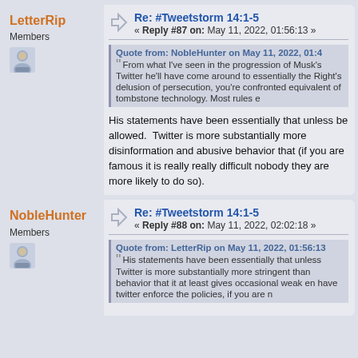LetterRip
Members
Re: #Tweetstorm 14:1-5
« Reply #87 on: May 11, 2022, 01:56:13
Quote from: NobleHunter on May 11, 2022, 01:4
From what I've seen in the progression of Musk's Twitter he'll have come around to essentially the Right's delusion of persecution, you're confronted equivalent of tombstone technology. Most rules e
His statements have been essentially that unless be allowed. Twitter is more substantially more disinformation and abusive behavior that (if you are famous it is really really difficult nobody they are more likely to do so).
NobleHunter
Members
Re: #Tweetstorm 14:1-5
« Reply #88 on: May 11, 2022, 02:02:18
Quote from: LetterRip on May 11, 2022, 01:56:13
His statements have been essentially that unless Twitter is more substantially more stringent than behavior that it at least gives occasional weak en have twitter enforce the policies, if you are n